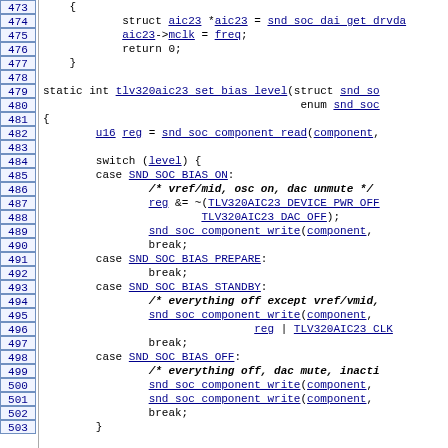[Figure (screenshot): Source code listing (C language) for a Linux kernel audio driver, showing lines 473-503. Contains function definitions for tlv320aic23_set_bias_level with switch/case statements handling SND_SOC_BIAS_ON, SND_SOC_BIAS_PREPARE, SND_SOC_BIAS_STANDBY, and SND_SOC_BIAS_OFF cases. Line numbers shown in left column with blue borders.]